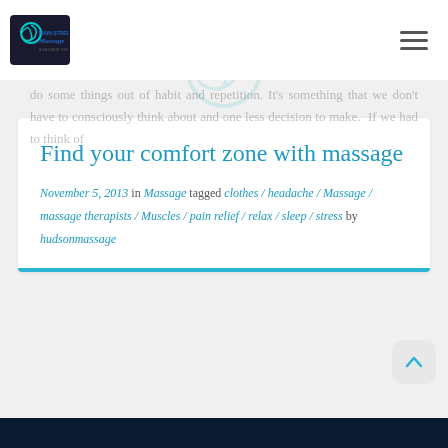Main Street Massage
We all have comfort zones. They can be really useful by allowing us to do some things out of habit and repetition. It's something that we don't have to consciously think about and one less decision to make. If we had to think of
Find your comfort zone with massage
November 5, 2013 in Massage tagged clothes / headache / Massage / massage therapists / Muscles / pain relief / relax / sleep / stress by hudsonmassage